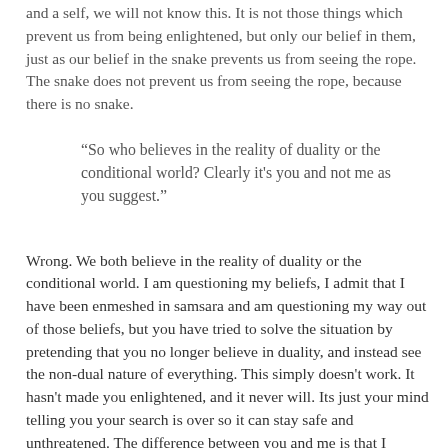and a self, we will not know this. It is not those things which prevent us from being enlightened, but only our belief in them, just as our belief in the snake prevents us from seeing the rope. The snake does not prevent us from seeing the rope, because there is no snake.
“So who believes in the reality of duality or the conditional world? Clearly it's you and not me as you suggest.”
Wrong. We both believe in the reality of duality or the conditional world. I am questioning my beliefs, I admit that I have been enmeshed in samsara and am questioning my way out of those beliefs, but you have tried to solve the situation by pretending that you no longer believe in duality, and instead see the non-dual nature of everything. This simply doesn't work. It hasn't made you enlightened, and it never will. Its just your mind telling you your search is over so it can stay safe and unthreatened. The difference between you and me is that I question and doubt my own